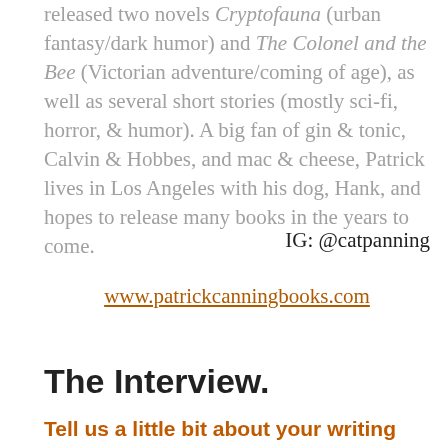released two novels Cryptofauna (urban fantasy/dark humor) and The Colonel and the Bee (Victorian adventure/coming of age), as well as several short stories (mostly sci-fi, horror, & humor). A big fan of gin & tonic, Calvin & Hobbes, and mac & cheese, Patrick lives in Los Angeles with his dog, Hank, and hopes to release many books in the years to come.
IG: @catpanning
www.patrickcanningbooks.com
The Interview.
Tell us a little bit about your writing history